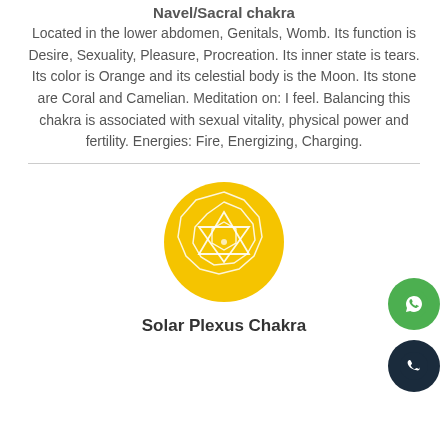Navel/Sacral chakra
Located in the lower abdomen, Genitals, Womb. Its function is Desire, Sexuality, Pleasure, Procreation. Its inner state is tears. Its color is Orange and its celestial body is the Moon. Its stone are Coral and Camelian. Meditation on: I feel. Balancing this chakra is associated with sexual vitality, physical power and fertility. Energies: Fire, Energizing, Charging.
[Figure (illustration): Yellow circular chakra symbol with geometric mandala pattern representing the Solar Plexus Chakra]
Solar Plexus Chakra